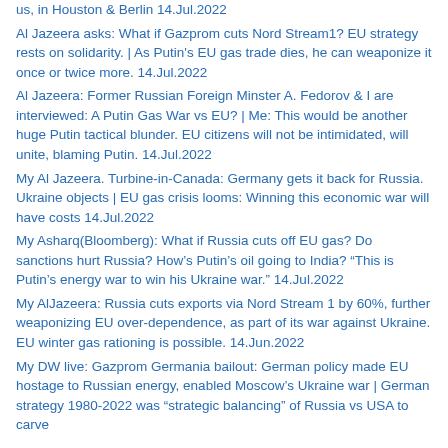us, in Houston & Berlin 14.Jul.2022
Al Jazeera asks: What if Gazprom cuts Nord Stream1? EU strategy rests on solidarity. | As Putin's EU gas trade dies, he can weaponize it once or twice more. 14.Jul.2022
Al Jazeera: Former Russian Foreign Minster A. Fedorov & I are interviewed: A Putin Gas War vs EU? | Me: This would be another huge Putin tactical blunder. EU citizens will not be intimidated, will unite, blaming Putin. 14.Jul.2022
My Al Jazeera. Turbine-in-Canada: Germany gets it back for Russia. Ukraine objects | EU gas crisis looms: Winning this economic war will have costs 14.Jul.2022
My Asharq(Bloomberg): What if Russia cuts off EU gas? Do sanctions hurt Russia? How's Putin's oil going to India? "This is Putin's energy war to win his Ukraine war." 14.Jul.2022
My AlJazeera: Russia cuts exports via Nord Stream 1 by 60%, further weaponizing EU over-dependence, as part of its war against Ukraine. EU winter gas rationing is possible. 14.Jun.2022
My DW live: Gazprom Germania bailout: German policy made EU hostage to Russian energy, enabled Moscow's Ukraine war | German strategy 1980-2022 was "strategic balancing" of Russia vs USA to carve